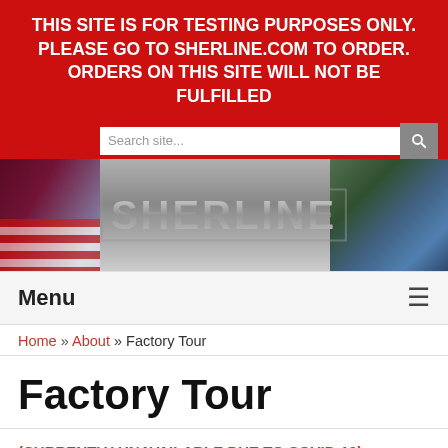THIS SITE IS FOR TESTING PURPOSES ONLY. PLEASE GO TO SHERLINE.COM TO ORDER. ORDERS ON THIS SITE WILL NOT BE FULFILLED
[Figure (screenshot): Sherline website header banner with American flag on left, Sherline logo in center on metallic background, building/office photo on right]
Menu
Home » About » Factory Tour
Factory Tour
(CURRENTLY UNAVAILABLE DUE TO COVID-19)
Anyone who visits the San Diego area is welcome to stop by and visit our factory. For those of you who can't get to Southern